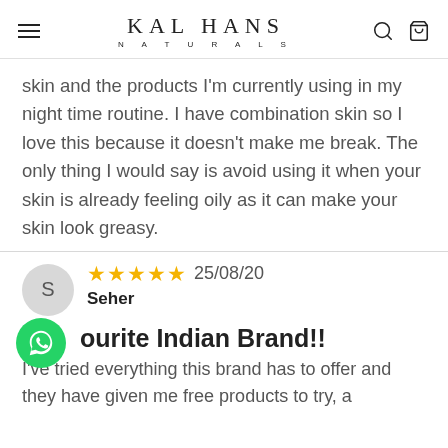KAL HANS NATURALS
skin and the products I'm currently using in my night time routine. I have combination skin so I love this because it doesn't make me break. The only thing I would say is avoid using it when your skin is already feeling oily as it can make your skin look greasy.
★★★★★ 25/08/20
Seher
Favourite Indian Brand!!
I've tried everything this brand has to offer and they have given me free products to try, a